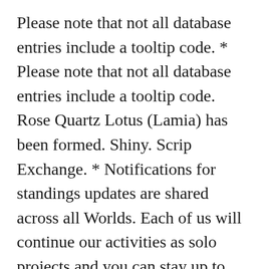Please note that not all database entries include a tooltip code. * Please note that not all database entries include a tooltip code. Rose Quartz Lotus (Lamia) has been formed. Shiny. Scrip Exchange. * Notifications for standings updates are shared across all Worlds. Each of us will continue our activities as solo projects and you can stay up to date by following Tyng and Pavel Khvaleev That's rather amazing. If that prophesized event takes place (at the discretion of the DM it has occurred), the oracle can spend the reserved die and add it to the roll; if multiple events trigger the prophecy, the oracle can select which of them is effected by the reserved die. I'm having